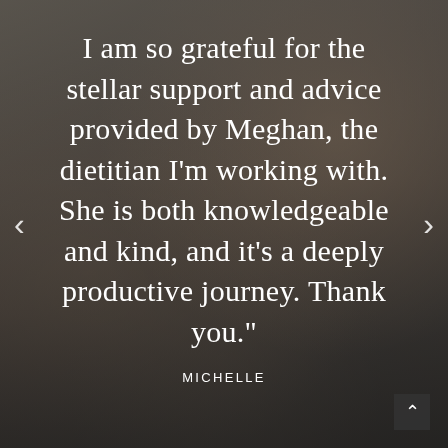[Figure (photo): Dimmed/overlaid background photo showing a family scene — adults and a laughing child, rendered with dark semi-transparent overlay. Navigation arrows on left and right sides, and an up-arrow button in the bottom-right corner.]
I am so grateful for the stellar support and advice provided by Meghan, the dietitian I'm working with. She is both knowledgeable and kind, and it's a deeply productive journey. Thank you."
MICHELLE